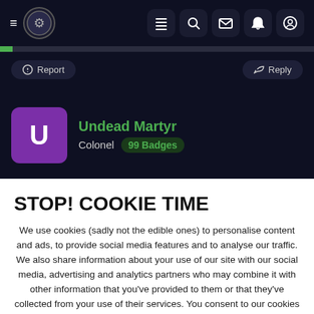[Figure (screenshot): Dark navigation bar with hamburger menu icon, circular logo with gear/skull motif, and five icon buttons (list, search, mail, bell, user) on dark background]
[Figure (infographic): Green progress bar on dark background]
Report   Reply
Undead Martyr
Colonel  99 Badges
STOP! COOKIE TIME
We use cookies (sadly not the edible ones) to personalise content and ads, to provide social media features and to analyse our traffic. We also share information about your use of our site with our social media, advertising and analytics partners who may combine it with other information that you've provided to them or that they've collected from your use of their services. You consent to our cookies if you continue to use this website.
ACCEPT